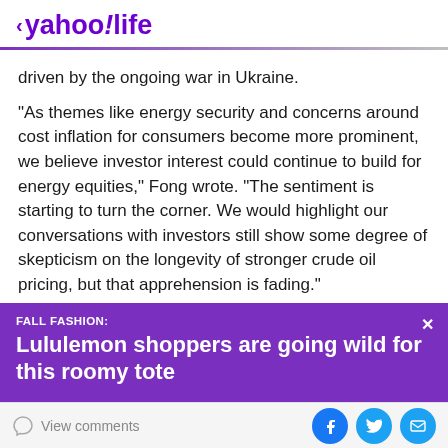< yahoo!life
driven by the ongoing war in Ukraine.
“As themes like energy security and concerns around cost inflation for consumers become more prominent, we believe investor interest could continue to build for energy equities,” Fong wrote. “The sentiment is starting to turn the corner. We would highlight our conversations with investors still show some degree of skepticism on the longevity of stronger crude oil pricing, but that apprehension is fading.”
[Figure (infographic): Purple ad banner: FALL FASHION: Lululemon shoppers are going wild for this roomy tote, with X close button]
View comments | Facebook | Twitter | Mail